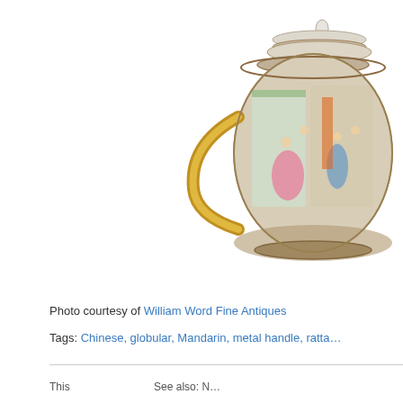[Figure (photo): Photograph of a Chinese globular teapot with a metal/gilt handle, decorated with Mandarin-style painted scenes featuring figures in colorful robes, with a domed lid topped by a finial. The porcelain body shows detailed polychrome enamel painting.]
Photo courtesy of William Word Fine Antiques
Tags: Chinese, globular, Mandarin, metal handle, rattan
This … … … See also: N…